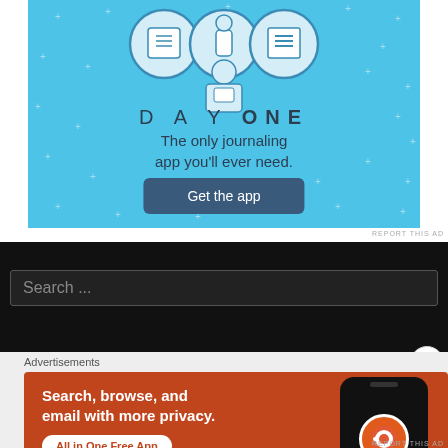[Figure (illustration): Day One journaling app advertisement. Light blue background with illustrated figures and icons. Shows 'DAY ONE' title, subtitle 'The only journaling app you'll ever need.' and a 'Get the app' button.]
REPORT THIS AD
[Figure (screenshot): Dark/black website search bar area with 'Search ...' placeholder text.]
Advertisements
[Figure (illustration): DuckDuckGo advertisement on orange-red background. Text: 'Search, browse, and email with more privacy.' with badge 'All in One Free App'. Shows DuckDuckGo app on phone mockup on the right.]
REPORT THIS AD